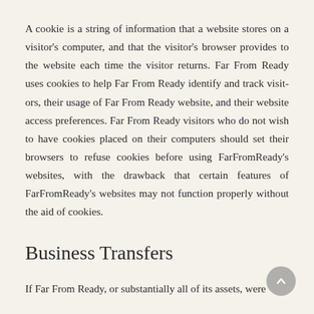A cookie is a string of information that a website stores on a visitor's computer, and that the visitor's browser provides to the website each time the visitor returns. Far From Ready uses cookies to help Far From Ready identify and track visitors, their usage of Far From Ready website, and their website access preferences. Far From Ready visitors who do not wish to have cookies placed on their computers should set their browsers to refuse cookies before using FarFromReady's websites, with the drawback that certain features of FarFromReady's websites may not function properly without the aid of cookies.
Business Transfers
If Far From Ready, or substantially all of its assets, were